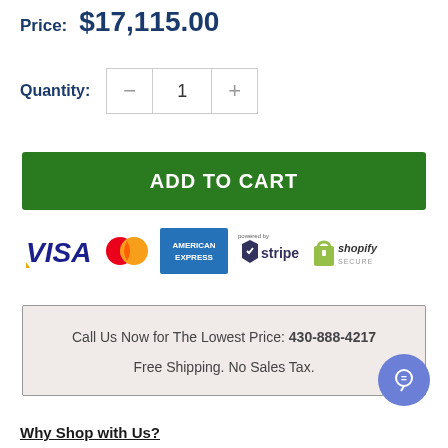Price: $17,115.00
Quantity: 1
ADD TO CART
[Figure (logo): Payment method logos: Visa, MasterCard, American Express, Stripe, Shopify Secure]
Call Us Now for The Lowest Price: 430-888-4217
Free Shipping. No Sales Tax.
Why Shop with Us?